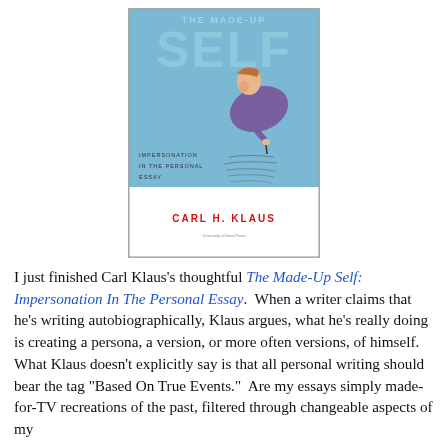[Figure (illustration): Book cover of 'The Made-Up Self: Impersonation In The Personal Essay' by Carl H. Klaus, featuring an illustrated person bent over writing, with a blue background and handwritten script flowing below.]
I just finished Carl Klaus's thoughtful The Made-Up Self: Impersonation In The Personal Essay.  When a writer claims that he's writing autobiographically, Klaus argues, what he's really doing is creating a persona, a version, or more often versions, of himself.  What Klaus doesn't explicitly say is that all personal writing should bear the tag "Based On True Events."  Are my essays simply made-for-TV recreations of the past, filtered through changeable aspects of my